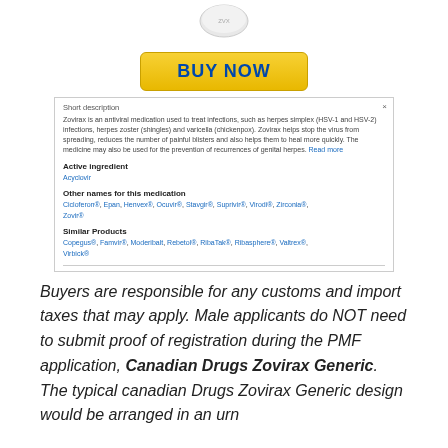[Figure (photo): White pill/tablet image at top center]
[Figure (other): Yellow BUY NOW button]
Short description
Zovirax is an antiviral medication used to treat infections, such as herpes simplex (HSV-1 and HSV-2) infections, herpes zoster (shingles) and varicella (chickenpox). Zovirax helps stop the virus from spreading, reduces the number of painful blisters and also helps them to heal more quickly. The medicine may also be used for the prevention of recurrences of genital herpes. Read more
Active ingredient
Acyclovir
Other names for this medication
Cicloferon®, Epan, Henvex®, Ocuvir®, Stavgir®, Suprivir®, Virodi®, Zirconia®, Zovir®
Similar Products
Copegus®, Famvir®, Moderibalt, Rebetol®, RibaTak®, Ribasphere®, Valtrex®, Virbick®
Buyers are responsible for any customs and import taxes that may apply. Male applicants do NOT need to submit proof of registration during the PMF application, Canadian Drugs Zovirax Generic. The typical canadian Drugs Zovirax Generic design would be arranged in an urn